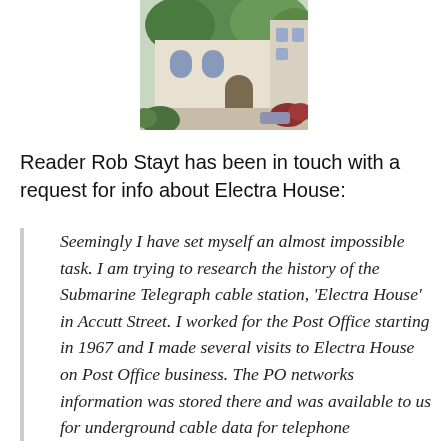[Figure (photo): Photograph of a building with white walls, arched windows, and surrounding trees and shrubs — appears to be Electra House.]
Reader Rob Stayt has been in touch with a request for info about Electra House:
Seemingly I have set myself an almost impossible task. I am trying to research the history of the Submarine Telegraph cable station, ‘Electra House’ in Accutt Street. I worked for the Post Office starting in 1967 and I made several visits to Electra House on Post Office business. The PO networks information was stored there and was available to us for underground cable data for telephone